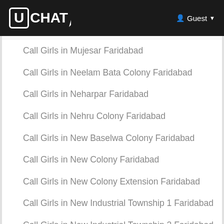UCHAT  Guest
Call Girls in Mujesar Faridabad
Call Girls in Neelam Bata Colony Faridabad
Call Girls in Neharpar Faridabad
Call Girls in Nehru Colony Faridabad
Call Girls in New Baselwa Colony Faridabad
Call Girls in New Colony Faridabad
Call Girls in New Colony Extension Faridabad
Call Girls in New Industrial Township 1 Faridabad
Call Girls in New Industrial Township 2 Faridabad